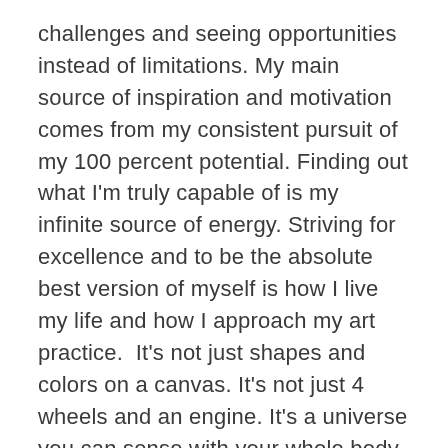challenges and seeing opportunities instead of limitations. My main source of inspiration and motivation comes from my consistent pursuit of my 100 percent potential. Finding out what I'm truly capable of is my infinite source of energy. Striving for excellence and to be the absolute best version of myself is how I live my life and how I approach my art practice.  It's not just shapes and colors on a canvas. It's not just 4 wheels and an engine. It's a universe you can sense with your whole body. It's an experience.
LACI JORDAN: My art is rooted in graphic design which is where I began my art career and when I fell in love with big partners and